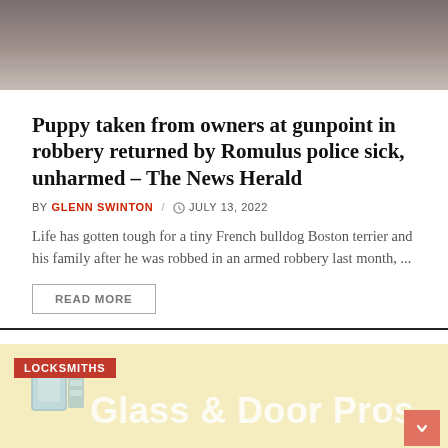[Figure (photo): Top portion of a photo showing a person, partially cropped at the top of the page.]
Puppy taken from owners at gunpoint in robbery returned by Romulus police sick, unharmed – The News Herald
BY GLENN SWINTON / JULY 13, 2022
Life has gotten tough for a tiny French bulldog Boston terrier and his family after he was robbed in an armed robbery last month, ...
READ MORE
[Figure (advertisement): Advertisement banner for Glass & Door Pros with a Locksmiths label in red.]